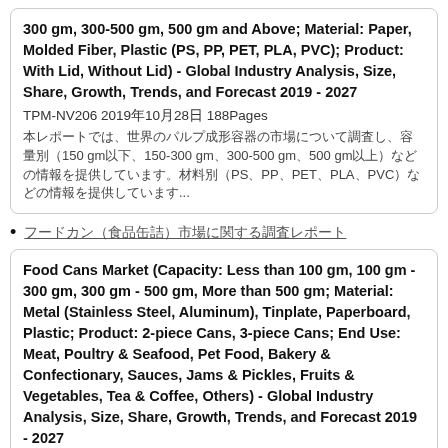300 gm, 300-500 gm, 500 gm and Above; Material: Paper, Molded Fiber, Plastic (PS, PP, PET, PLA, PVC); Product: With Lid, Without Lid) - Global Industry Analysis, Size, Share, Growth, Trends, and Forecast 2019 - 2027
TPM-NV206 2019年10月28日 188Pages
本レポートでは、世界のパルプ成形容器の市場について調査し、容量別（150 gm以下、150-300 gm、300-500 gm、500 gm以上）、材料別（PS、PP、PET、PLA、PVC）などの情報を提供しています...
フードカン（食品缶詰）市場に関する調査レポート
Food Cans Market (Capacity: Less than 100 gm, 100 gm - 300 gm, 300 gm - 500 gm, More than 500 gm; Material: Metal (Stainless Steel, Aluminum), Tinplate, Paperboard, Plastic; Product: 2-piece Cans, 3-piece Cans; End Use: Meat, Poultry & Seafood, Pet Food, Bakery & Confectionary, Sauces, Jams & Pickles, Fruits & Vegetables, Tea & Coffee, Others) - Global Industry Analysis, Size, Share, Growth, Trends, and Forecast 2019 - 2027